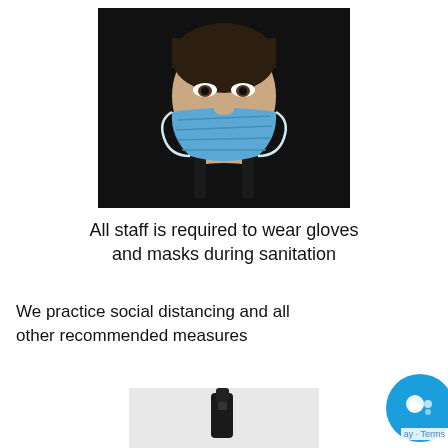[Figure (photo): Close-up photo of a person wearing a blue surgical face mask against a dark background, looking directly at the camera.]
All staff is required to wear gloves and masks during sanitation
We practice social distancing and all other recommended measures
[Figure (photo): Partial view of a product or device — a small dark object visible at bottom center against a light/white background.]
[Figure (other): Blue circular chat/video button widget with a play icon, partially overlapping the bottom-right corner of the page. Includes a 'Terms' label fragment.]